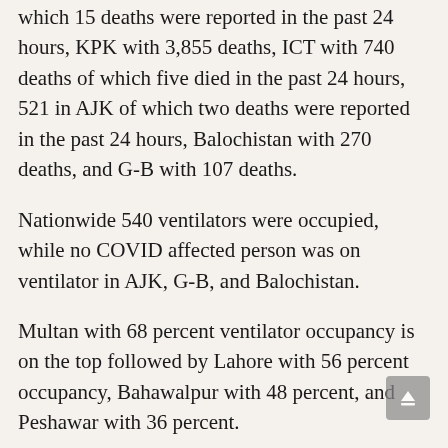which 15 deaths were reported in the past 24 hours, KPK with 3,855 deaths, ICT with 740 deaths of which five died in the past 24 hours, 521 in AJK of which two deaths were reported in the past 24 hours, Balochistan with 270 deaths, and G-B with 107 deaths.
Nationwide 540 ventilators were occupied, while no COVID affected person was on ventilator in AJK, G-B, and Balochistan.
Multan with 68 percent ventilator occupancy is on the top followed by Lahore with 56 percent occupancy, Bahawalpur with 48 percent, and Peshawar with 36 percent.
Multan with 65 percent occupancy of Oxygen beds is on top followed by Swabi with 47 percent, Gujranwala with 45